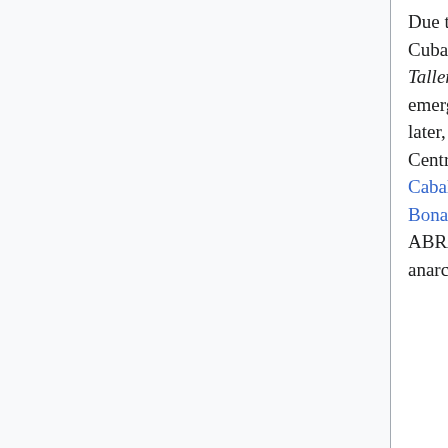Due to the expansion of the activist network known as the Observatorio Crítico Cubano, in August 2010, the Alfredo López Libertarian Workshop (Spanish: Taller Libertario Alfredo López, TLAA) was established in Havana, marking the emergence of the first anarchist organization in Cuba in decades.[59] Three years later, in 2015, they promoted the foundation of the Anarchist Federation of Central America and the Caribbean, which was constituted in Santiago de los Caballeros, with delegates from the Dominican Republic, Cuba, United States, Bonaire, El Salvador and Puerto Rico.[60] In May 2018, they established the ABRA social center, after having crowdfunded the project with help from anarchists in France and Spain.[61]